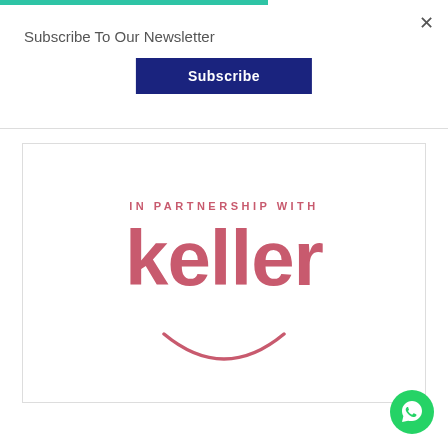Subscribe To Our Newsletter
Subscribe
[Figure (logo): IN PARTNERSHIP WITH keller logo with smile arc, red/pink color]
[Figure (other): WhatsApp floating button, green circle with phone icon]